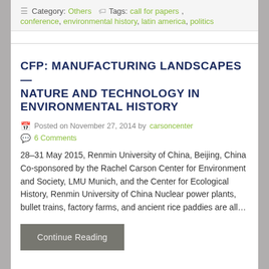Category: Others   Tags: call for papers, conference, environmental history, latin america, politics
CFP: MANUFACTURING LANDSCAPES—NATURE AND TECHNOLOGY IN ENVIRONMENTAL HISTORY
Posted on November 27, 2014 by carsoncenter
6 Comments
28–31 May 2015, Renmin University of China, Beijing, China Co-sponsored by the Rachel Carson Center for Environment and Society, LMU Munich, and the Center for Ecological History, Renmin University of China Nuclear power plants, bullet trains, factory farms, and ancient rice paddies are all…
Continue Reading